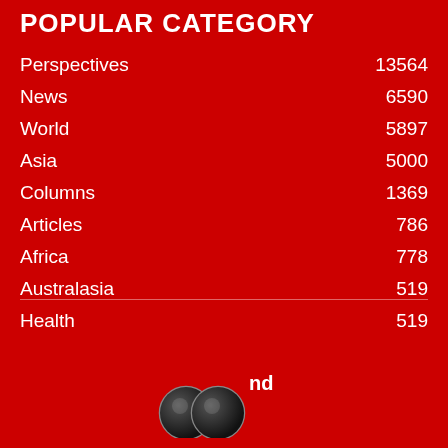POPULAR CATEGORY
Perspectives    13564
News    6590
World    5897
Asia    5000
Columns    1369
Articles    786
Africa    778
Australasia    519
Health    519
[Figure (logo): Two circular logo marks with 'nd' superscript text in white]